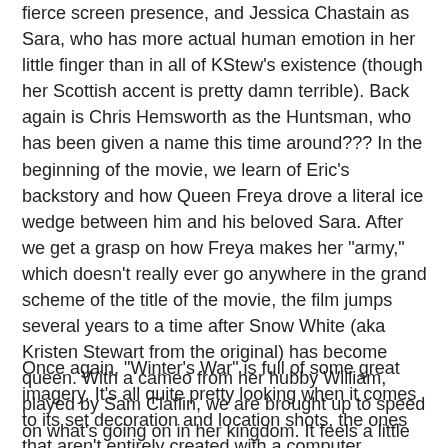fierce screen presence, and Jessica Chastain as Sara, who has more actual human emotion in her little finger than in all of KStew's existence (though her Scottish accent is pretty damn terrible). Back again is Chris Hemsworth as the Huntsman, who has been given a name this time around??? In the beginning of the movie, we learn of Eric's backstory and how Queen Freya drove a literal ice wedge between him and his beloved Sara. After we get a grasp on how Freya makes her "army," which doesn't really ever go anywhere in the grand scheme of the title of the movie, the film jumps several years to a time after Snow White (aka Kristen Stewart from the original) has become queen. With a cameo from her hubby William, played by Sam Claflin, we are brought up to speed on what's going on in her kingdom. It feels a little bit messy and is basically an excuse to  bring the film into the present, but we guess it sort of works.
Once again, "Winter's War" is full of some great imagery. It's all quite pretty looking when it comes to its set decoration and location shots, the ones that aren't entirely created with a computer. Though some of the CGI is good, such as the gold melting mirror (something that was also in the original)